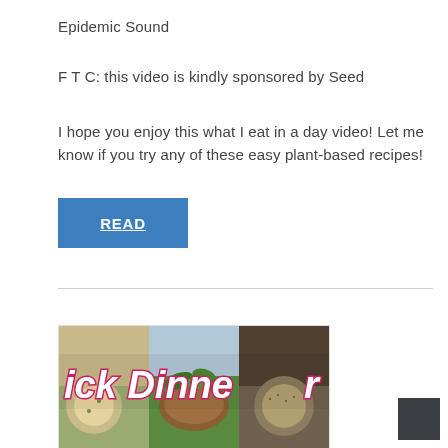Epidemic Sound
F T C: this video is kindly sponsored by Seed
I hope you enjoy this what I eat in a day video! Let me know if you try any of these easy plant-based recipes!
READ
[Figure (photo): Thumbnail image showing food dishes with overlaid text reading 'ick Dinner' in bold colorful font, featuring various plant-based meals including salads and grain bowls.]